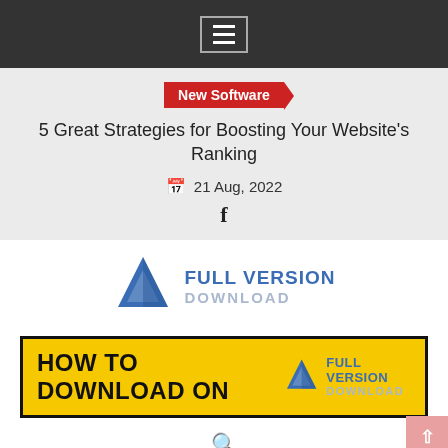Navigation menu icon
New Software
5 Great Strategies for Boosting Your Website's Ranking
21 Aug, 2022
f
[Figure (logo): Full Version Download logo with blue triangle/chevron icon and text FULL VERSION DOWNLOAD]
[Figure (infographic): Yellow banner with black border reading HOW TO DOWNLOAD ON with Full Version Download logo on the right side]
Search icon
Home > Design Graphics >